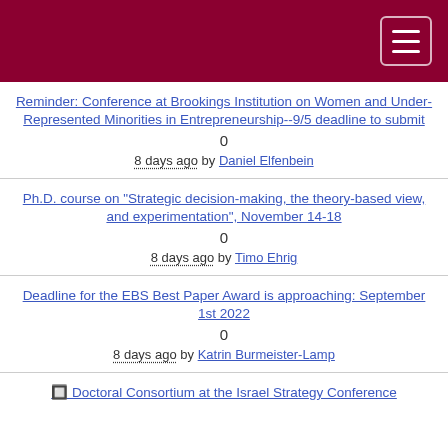[Figure (screenshot): Dark red/maroon navigation header bar with a hamburger menu button (three horizontal lines) in the top-right corner]
Reminder: Conference at Brookings Institution on Women and Under-Represented Minorities in Entrepreneurship--9/5 deadline to submit
0
8 days ago by Daniel Elfenbein
Ph.D. course on "Strategic decision-making, the theory-based view, and experimentation", November 14-18
0
8 days ago by Timo Ehrig
Deadline for the EBS Best Paper Award is approaching: September 1st 2022
0
8 days ago by Katrin Burmeister-Lamp
🔲 Doctoral Consortium at the Israel Strategy Conference